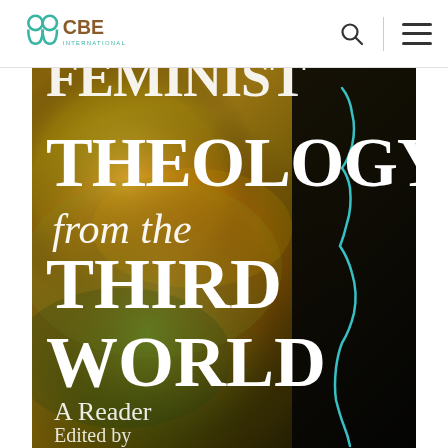CBE International
[Figure (illustration): Book cover of 'Feminist Theology from the Third World: A Reader', edited by Ursula King. Cover features large white serif text on a colorful background with a glowing outline of a woman's face profile on the right side against a dark background. Colors include yellow, orange, green, and red gradients.]